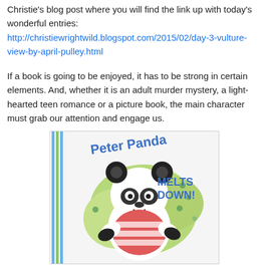Christie's blog post where you will find the link up with today's wonderful entries:
http://christiewrightwild.blogspot.com/2015/02/day-3-vulture-view-by-april-pulley.html
If a book is going to be enjoyed, it has to be strong in certain elements. And, whether it is an adult murder mystery, a light-hearted teen romance or a picture book, the main character must grab our attention and engage us.
[Figure (illustration): Book cover of 'Peter Panda Melts Down!' showing a cartoon panda wearing a red and white striped shirt, surrounded by green foliage, with blue and green striped border on the left side.]